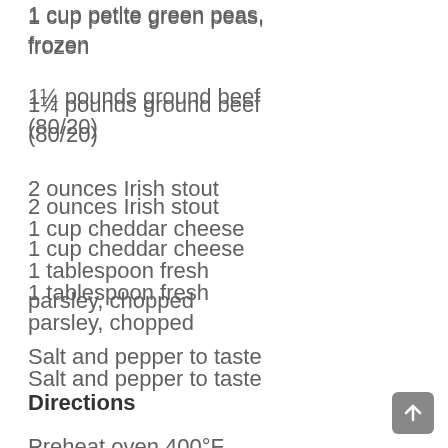1 cup petite green peas, frozen
1¼ pounds ground beef (80/20)
2 ounces Irish stout
1 cup cheddar cheese
1 tablespoon fresh parsley, chopped
Salt and pepper to taste
Directions
Preheat oven 400°F.